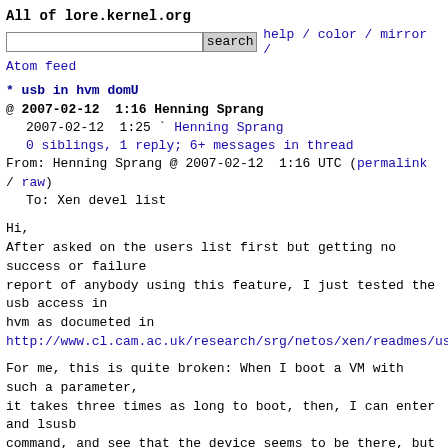All of lore.kernel.org
search  help / color / mirror / Atom feed
* usb in hvm domU
@ 2007-02-12  1:16 Henning Sprang
  2007-02-12  1:25 ` Henning Sprang
  0 siblings, 1 reply; 6+ messages in thread
From: Henning Sprang @ 2007-02-12  1:16 UTC (permalink / raw)
  To: Xen devel list
Hi,
After asked on the users list first but getting no success or failure
report of anybody using this feature, I just tested the usb access in
hvm as documeted in
http://www.cl.cam.ac.uk/research/srg/netos/xen/readmes/us

For me, this is quite broken: When I boot a VM with such a parameter,
it takes three times as long to boot, then, I can enter and lsusb
command, and see that the device seems to be there, but from then on,
the VM behaves very strange, not accepting keybord intput correctly
anymore, and I got now 3 times trapped in an vnc